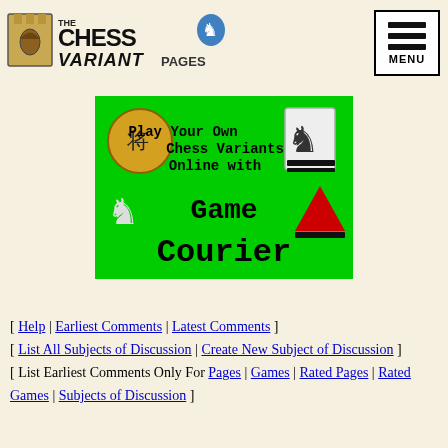[Figure (logo): The Chess Variant Pages logo with chess pieces and knight]
[Figure (illustration): Green banner: Play Your Own Chess Variants Online with Game Courier, with chess piece icons]
[ Help | Earliest Comments | Latest Comments ] [ List All Subjects of Discussion | Create New Subject of Discussion ] [ List Earliest Comments Only For Pages | Games | Rated Pages | Rated Games | Subjects of Discussion ]